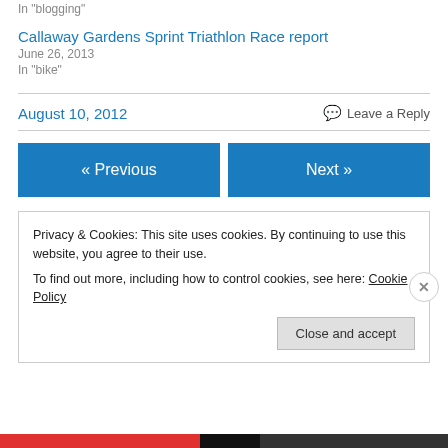In "blogging"
Callaway Gardens Sprint Triathlon Race report
June 26, 2013
In "bike"
August 10, 2012
Leave a Reply
« Previous
Next »
Privacy & Cookies: This site uses cookies. By continuing to use this website, you agree to their use.
To find out more, including how to control cookies, see here: Cookie Policy
Close and accept